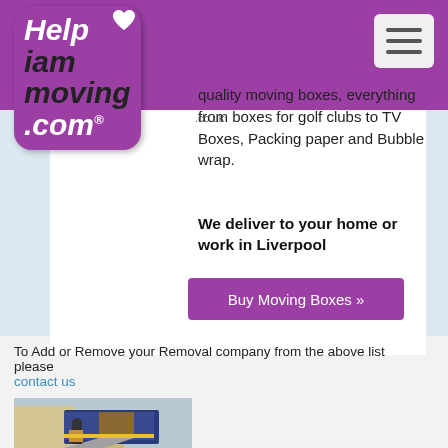[Figure (logo): Help iam moving .com logo on purple background]
quality moving boxes, everything from boxes for golf clubs to TV Boxes, Packing paper and Bubble wrap.
We deliver to your home or work in Liverpool
Buy Moving Boxes »
To Add or Remove your Removal company from the above list please
contact us
[Figure (photo): Removal truck with workers loading boxes outside a building]